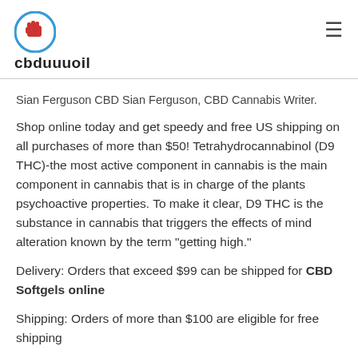cbduuuoil
Sian Ferguson CBD Sian Ferguson, CBD Cannabis Writer.
Shop online today and get speedy and free US shipping on all purchases of more than $50! Tetrahydrocannabinol (D9 THC)-the most active component in cannabis is the main component in cannabis that is in charge of the plants psychoactive properties. To make it clear, D9 THC is the substance in cannabis that triggers the effects of mind alteration known by the term "getting high."
Delivery: Orders that exceed $99 can be shipped for CBD Softgels online
Shipping: Orders of more than $100 are eligible for free shipping